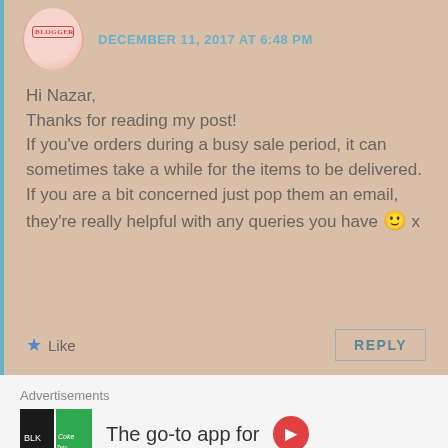DECEMBER 11, 2017 AT 6:48 PM
Hi Nazar,
Thanks for reading my post!
If you've orders during a busy sale period, it can sometimes take a while for the items to be delivered.
If you are a bit concerned just pop them an email, they're really helpful with any queries you have 🙂 x
Advertisements
The go-to app for